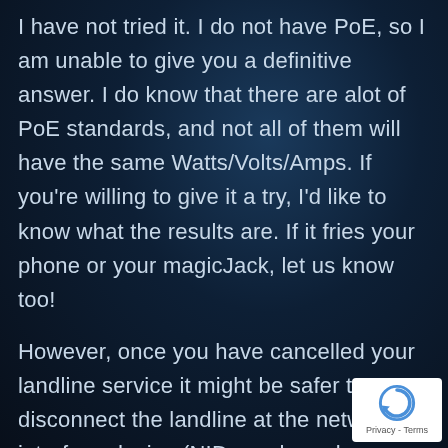I have not tried it. I do not have PoE, so I am unable to give you a definitive answer. I do know that there are alot of PoE standards, and not all of them will have the same Watts/Volts/Amps. If you're willing to give it a try, I'd like to know what the results are. If it fries your phone or your magicJack, let us know too!
However, once you have cancelled your landline service it might be safer to disconnect the landline at the network interface device (NID, or phone box on
[Figure (logo): reCAPTCHA badge with spinning arrow logo and Privacy - Terms text]